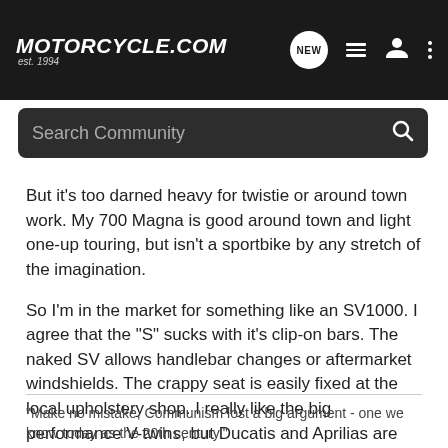Motorcycle.com est. 1994
Search Community
But it's too darned heavy for twistie or around town work. My 700 Magna is good around town and light one-up touring, but isn't a sportbike by any stretch of the imagination.

So I'm in the market for something like an SV1000. I agree that the "S" sucks with it's clip-on bars. The naked SV allows handlebar changes or aftermarket windshields. The crappy seat is easily fixed at the local upholstery shop. I really like the big performance V-twins, but Ducatis and Aprilias are too expensive. So I'm seriously considering the SV1000.
"Make no mistake, Communism lost a big argument - one we know today as the 20th century."